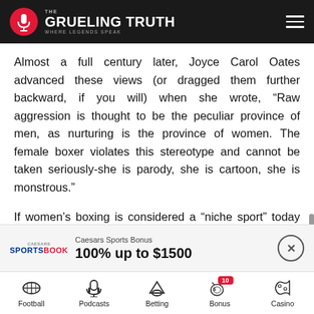THE GRUELING TRUTH — WHERE LEGENDS SPEAK
Almost a full century later, Joyce Carol Oates advanced these views (or dragged them further backward, if you will) when she wrote, “Raw aggression is thought to be the peculiar province of men, as nurturing is the province of women. The female boxer violates this stereotype and cannot be taken seriously-she is parody, she is cartoon, she is monstrous.”
If women’s boxing is considered a “niche sport” today (if not cartoonish or “monstrous”), it existed in the 19th Century on the outermost fringes of prizefighting, generally disregarded as a brutish pastime as it was. Yet exist it did. Two prominent female fighters of the day were Hattie Stewart and Hattie
[Figure (other): Caesars Sportsbook advertisement banner: 100% up to $1500]
Football | Podcasts | Betting | Bonus 10 | Casino